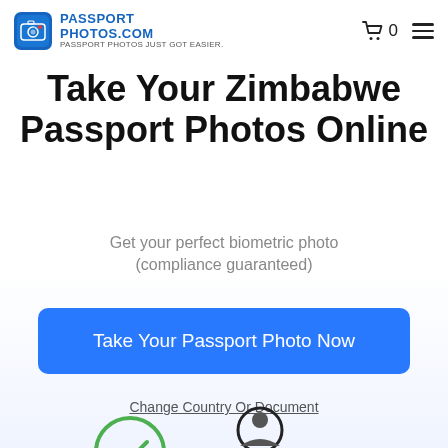PASSPORT PHOTOS.COM — PASSPORT PHOTOS JUST GOT EASIER.
Take Your Zimbabwe Passport Photos Online
Get your perfect biometric photo (compliance guaranteed)
Take Your Passport Photo Now
Change Country Or Document